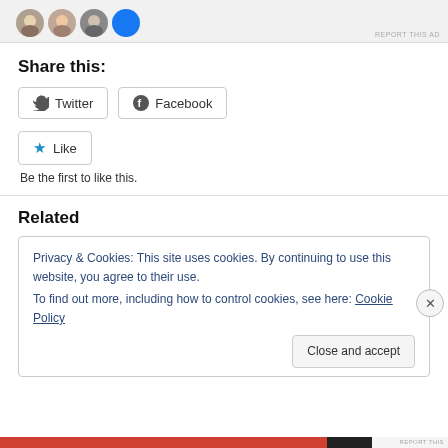[Figure (screenshot): Top ad banner with profile avatars and 'REPORT THIS AD' text]
Share this:
[Figure (screenshot): Twitter share button]
[Figure (screenshot): Facebook share button]
[Figure (screenshot): Like button with star icon]
Be the first to like this.
Related
Privacy & Cookies: This site uses cookies. By continuing to use this website, you agree to their use.
To find out more, including how to control cookies, see here: Cookie Policy
Close and accept